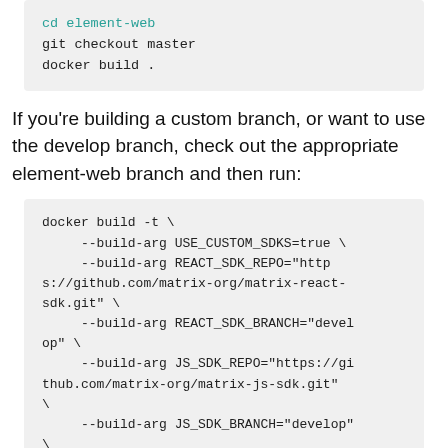cd element-web
git checkout master
docker build .
If you're building a custom branch, or want to use the develop branch, check out the appropriate element-web branch and then run:
docker build -t \
    --build-arg USE_CUSTOM_SDKS=true \
    --build-arg REACT_SDK_REPO="https://github.com/matrix-org/matrix-react-sdk.git" \
    --build-arg REACT_SDK_BRANCH="develop" \
    --build-arg JS_SDK_REPO="https://github.com/matrix-org/matrix-js-sdk.git" \
    --build-arg JS_SDK_BRANCH="develop" \